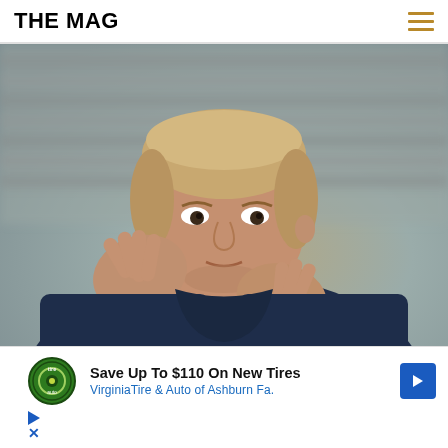THE MAG
[Figure (photo): A man in a dark navy blue hoodie applauding or clapping, with blurred stadium seating in the background. He has short blonde/brown hair and is looking slightly off-camera.]
[Figure (infographic): Advertisement: Save Up To $110 On New Tires - Virginia Tire & Auto of Ashburn Fa. with Tire Auto logo circle and blue arrow icon.]